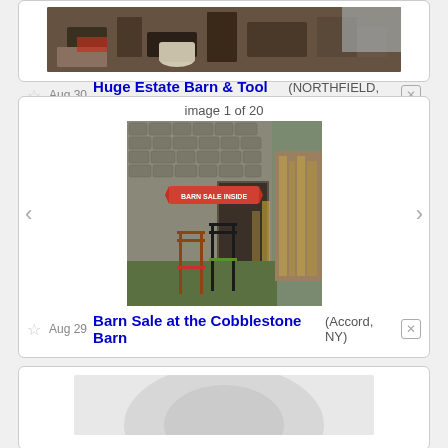[Figure (photo): Photo of a cluttered barn/workshop with tools and equipment]
☆ Aug 30  Huge Estate Barn & Tool Sale  (NORTHFIELD, CT)  ✕
image 1 of 20
[Figure (photo): Photo of barn exterior with 'BARN SALE INSIDE' sign and two chairs (red-seated and green-seated) in front of a cobblestone barn]
☆ Aug 29  Barn Sale at the Cobblestone Barn  (Accord, NY)  ✕
[Figure (photo): Partial photo of a third listing, mostly white/grey]